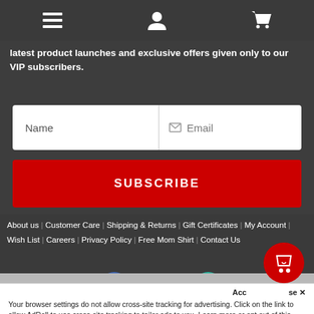[Figure (screenshot): Navigation bar with hamburger menu, user icon, and shopping cart icon]
latest product launches and exclusive offers given only to our VIP subscribers.
[Figure (screenshot): Name and Email input fields side by side]
SUBSCRIBE
About us | Customer Care | Shipping & Returns | Gift Certificates | My Account | Wish List | Careers | Privacy Policy | Free Mom Shirt | Contact Us
[Figure (screenshot): Facebook and Instagram social media circular icons]
Your browser settings do not allow cross-site tracking for advertising. Click on the link to allow AdRoll to use cross-site tracking to tailor ads to you. Learn more or opt out of this AdRoll tracking by clicking here. This message only appears once.